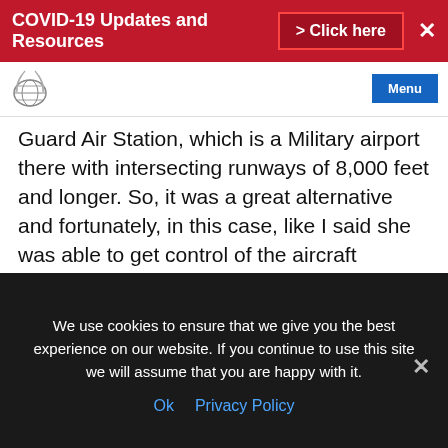COVID-19 Updates and Resources > Click here ✕
[Figure (logo): Circular logo with globe and radio waves, organization website header logo]
Guard Air Station, which is a Military airport there with intersecting runways of 8,000 feet and longer. So, it was a great alternative and fortunately, in this case, like I said she was able to get control of the aircraft eventually and in conversation with her, get her to her safe altitude and some headings to safely land at that airport.

Throughout the experience, I didn't understand
We use cookies to ensure that we give you the best experience on our website. If you continue to use this site we will assume that you are happy with it.
Ok  Privacy Policy